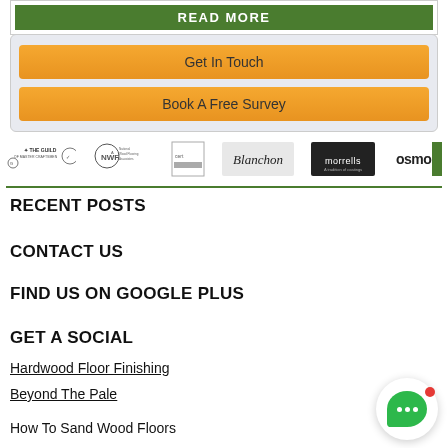[Figure (other): Green READ MORE button inside white bordered box]
[Figure (other): Light blue-grey box with two orange CTA buttons: Get In Touch and Book A Free Survey]
[Figure (other): Row of six logos: The Guild of Master Craftsmen, National Wood Flooring Association, certification logo, Blanchon, Morrells, Osmo]
RECENT POSTS
CONTACT US
FIND US ON GOOGLE PLUS
GET A SOCIAL
Hardwood Floor Finishing
Beyond The Pale
How To Sand Wood Floors